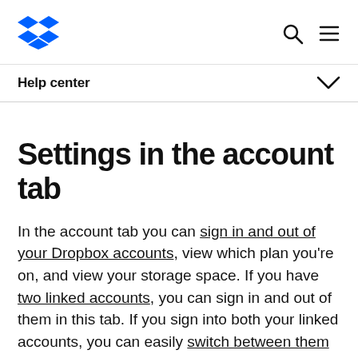Dropbox logo, search icon, menu icon
Help center
Settings in the account tab
In the account tab you can sign in and out of your Dropbox accounts, view which plan you're on, and view your storage space. If you have two linked accounts, you can sign in and out of them in this tab. If you sign into both your linked accounts, you can easily switch between them in the desktop app